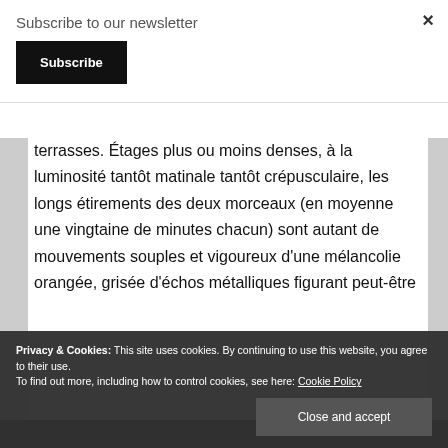Subscribe to our newsletter
Subscribe
terrasses. Étages plus ou moins denses, à la luminosité tantôt matinale tantôt crépusculaire, les longs étirements des deux morceaux (en moyenne une vingtaine de minutes chacun) sont autant de mouvements souples et vigoureux d'une mélancolie orangée, grisée d'échos métalliques figurant peut-être
Privacy & Cookies: This site uses cookies. By continuing to use this website, you agree to their use.
To find out more, including how to control cookies, see here: Cookie Policy
Close and accept